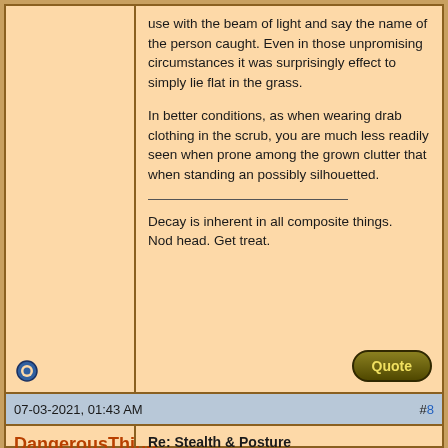use with the beam of light and say the name of the person caught. Even in those unpromising circumstances it was surprisingly effect to simply lie flat in the grass.

In better conditions, as when wearing drab clothing in the scrub, you are much less readily seen when prone among the grown clutter that when standing an possibly silhouetted.

——————————————

Decay is inherent in all composite things.
Nod head. Get treat.
07-03-2021, 01:43 AM
#8
DangerousThing
Join Date: Mar 2013
Re: Stealth & Posture
Quote:
Originally Posted by Rupert
Note that all this